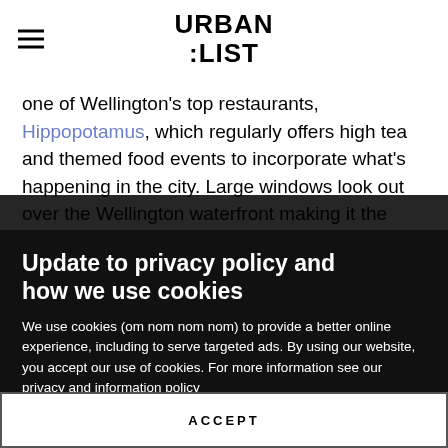URBAN LIST
one of Wellington's top restaurants, Hippopotamus, which regularly offers high tea and themed food events to incorporate what's happening in the city. Large windows look out over the Wellington waterfront making it the perfect place for an early evening beverage. If Asian
Update to privacy policy and how we use cookies
We use cookies (om nom nom nom) to provide a better online experience, including to serve targeted ads. By using our website, you accept our use of cookies. For more information see our privacy and information policy
ACCEPT